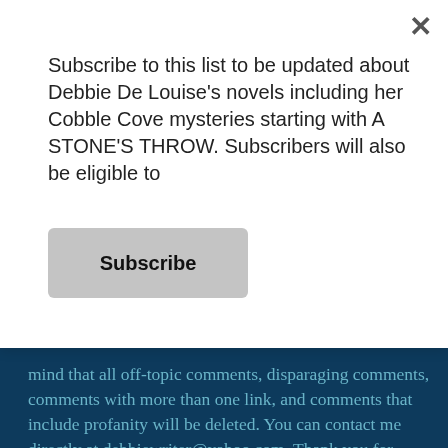Subscribe to this list to be updated about Debbie De Louise's novels including her Cobble Cove mysteries starting with A STONE'S THROW. Subscribers will also be eligible to
Subscribe
mind that all off-topic comments, disparaging comments, comments with more than one link, and comments that include profanity will be deleted. You can contact me directly at debbiewriter@yahoo.com. Thank you for reading my blog.
Social